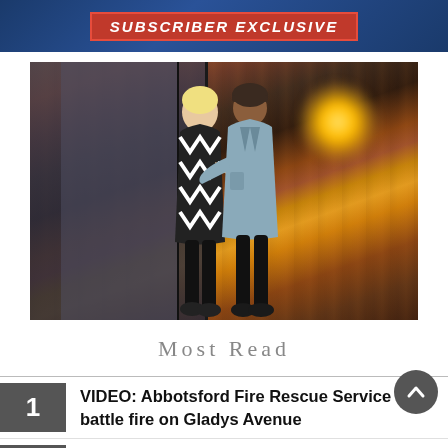[Figure (photo): Banner with red 'SUBSCRIBER EXCLUSIVE' label over a dark blue background]
[Figure (photo): Two people standing with arms around each other, viewed from behind, looking at a modern house with wood and glass facade, warm sunset light]
Most Read
VIDEO: Abbotsford Fire Rescue Service battle fire on Gladys Avenue
'Infectious smile and big heart': Family of B.C. man